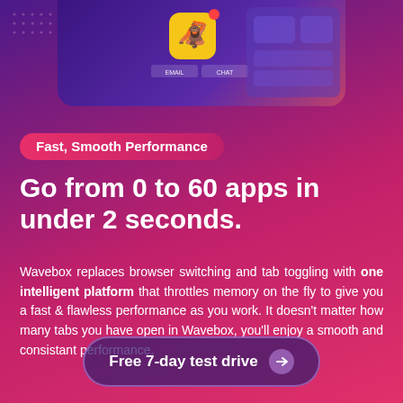[Figure (screenshot): Screenshot showing a Wavebox app interface with a yellow app icon, navigation tabs labeled EMAIL and CHAT, and UI panels with purple background]
Fast, Smooth Performance
Go from 0 to 60 apps in under 2 seconds.
Wavebox replaces browser switching and tab toggling with one intelligent platform that throttles memory on the fly to give you a fast & flawless performance as you work. It doesn't matter how many tabs you have open in Wavebox, you'll enjoy a smooth and consistant performance.
Free 7-day test drive →